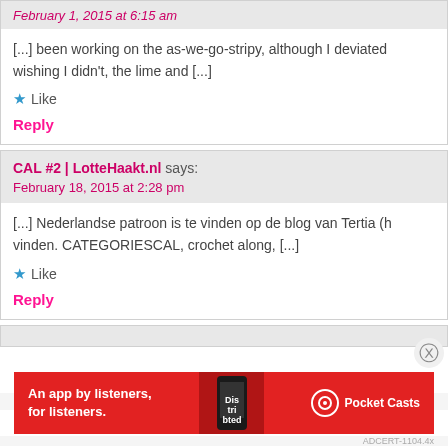[...] been working on the as-we-go-stripy, although I deviated wishing I didn't, the lime and [...]
Like
Reply
CAL #2 | LotteHaakt.nl says:
February 18, 2015 at 2:28 pm
[...] Nederlandse patroon is te vinden op de blog van Tertia (h vinden. CATEGORIESCAL, crochet along, [...]
Like
Reply
Advertisements
[Figure (infographic): Pocket Casts advertisement banner: An app by listeners, for listeners.]